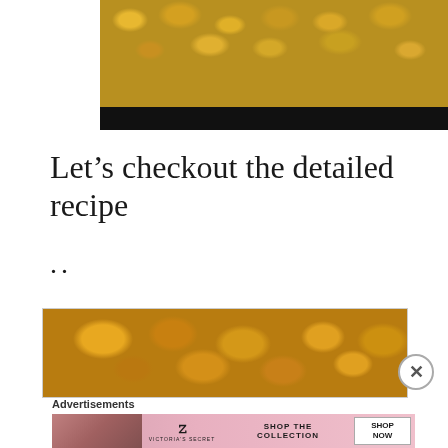[Figure (photo): Close-up photo of golden-yellow crispy rice treat or cereal bar against a dark background, with a black strip at the bottom of the image]
Let’s checkout the detailed recipe
..
[Figure (photo): Close-up macro photo of golden-brown crispy cereal or crunchy food texture]
Advertisements
[Figure (other): Victoria's Secret advertisement banner with woman photo, VS logo, SHOP THE COLLECTION text, and SHOP NOW button]